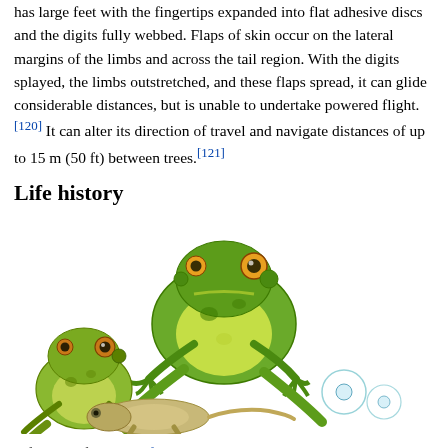has large feet with the fingertips expanded into flat adhesive discs and the digits fully webbed. Flaps of skin occur on the lateral margins of the limbs and across the tail region. With the digits splayed, the limbs outstretched, and these flaps spread, it can glide considerable distances, but is unable to undertake powered flight. [120] It can alter its direction of travel and navigate distances of up to 15 m (50 ft) between trees.[121]
Life history
[Figure (illustration): Illustration showing the life cycle of the green frog (Rana clamitans), depicting adult frogs, a smaller frog, and eggs/tadpole stages.]
Life cycle of the green frog (Rana clamitans).
Reproduction